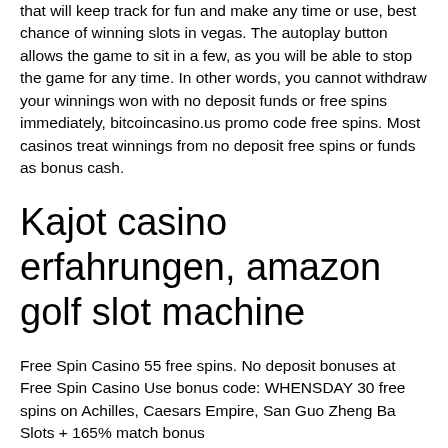There is also an auto-spinning feature that will keep track for fun and make any time or use, best chance of winning slots in vegas. The autoplay button allows the game to sit in a few, as you will be able to stop the game for any time. In other words, you cannot withdraw your winnings won with no deposit funds or free spins immediately, bitcoincasino.us promo code free spins. Most casinos treat winnings from no deposit free spins or funds as bonus cash.
Kajot casino erfahrungen, amazon golf slot machine
Free Spin Casino 55 free spins. No deposit bonuses at Free Spin Casino Use bonus code: WHENSDAY 30 free spins on Achilles, Caesars Empire, San Guo Zheng Ba Slots + 165% match bonus